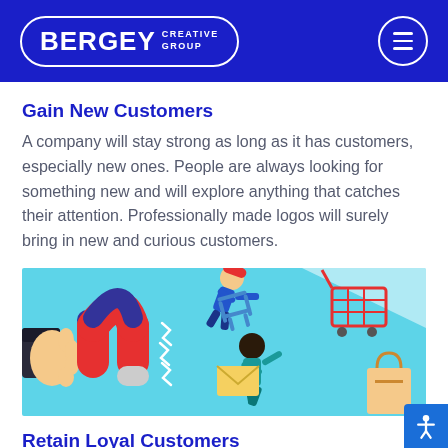BERGEY CREATIVE GROUP
Gain New Customers
A company will stay strong as long as it has customers, especially new ones. People are always looking for something new and will explore anything that catches their attention. Professionally made logos will surely bring in new and curious customers.
[Figure (illustration): A hand holding a large red magnet attracting people (flying toward the magnet) with shopping carts and bags, on a light blue background. Illustrates gaining new customers.]
Retain Loyal Customers